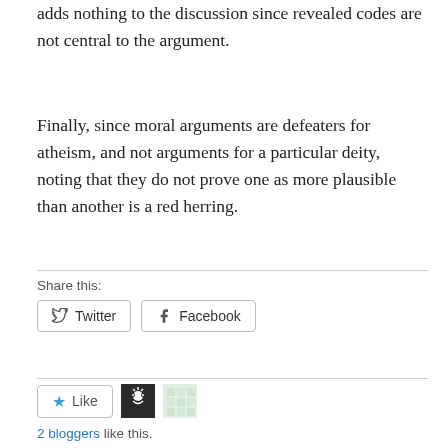adds nothing to the discussion since revealed codes are not central to the argument.
Finally, since moral arguments are defeaters for atheism, and not arguments for a particular deity, noting that they do not prove one as more plausible than another is a red herring.
Share this:
Twitter   Facebook
Like
2 bloggers like this.